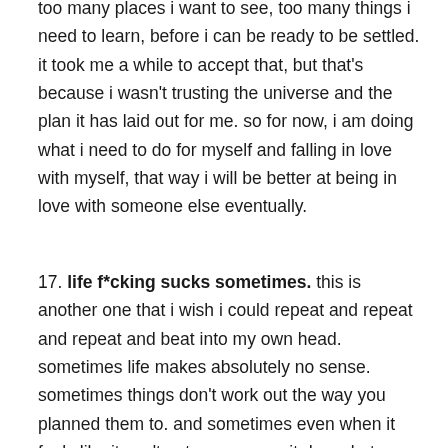too many places i want to see, too many things i need to learn, before i can be ready to be settled. it took me a while to accept that, but that's because i wasn't trusting the universe and the plan it has laid out for me. so for now, i am doing what i need to do for myself and falling in love with myself, that way i will be better at being in love with someone else eventually.
17. life f*cking sucks sometimes. this is another one that i wish i could repeat and repeat and repeat and beat into my own head. sometimes life makes absolutely no sense. sometimes things don't work out the way you planned them to. and sometimes even when it feels like it can't get any worse...it does. but that's just how it is. my dad always said